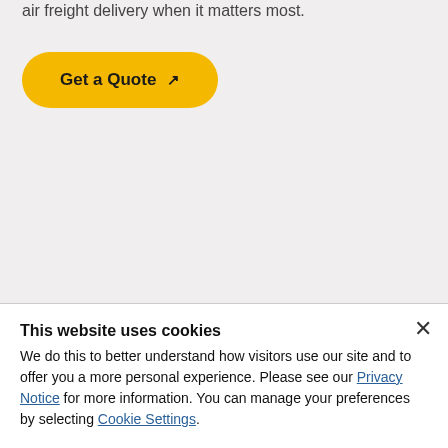air freight delivery when it matters most.
Get a Quote ↗
This website uses cookies
We do this to better understand how visitors use our site and to offer you a more personal experience. Please see our Privacy Notice for more information. You can manage your preferences by selecting Cookie Settings.